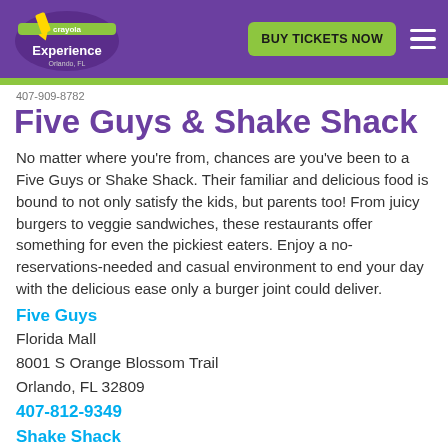Crayola Experience Orlando — BUY TICKETS NOW
Five Guys & Shake Shack
No matter where you're from, chances are you've been to a Five Guys or Shake Shack. Their familiar and delicious food is bound to not only satisfy the kids, but parents too! From juicy burgers to veggie sandwiches, these restaurants offer something for even the pickiest eaters. Enjoy a no-reservations-needed and casual environment to end your day with the delicious ease only a burger joint could deliver.
Five Guys
Florida Mall
8001 S Orange Blossom Trail
Orlando, FL 32809
407-812-9349
Shake Shack
Florida Mall